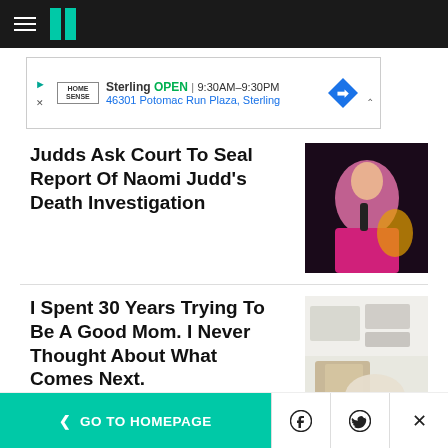HuffPost navigation bar with hamburger menu and logo
[Figure (screenshot): Advertisement banner for HomeSense Sterling store: OPEN 9:30AM-9:30PM, 46301 Potomac Run Plaza, Sterling]
Judds Ask Court To Seal Report Of Naomi Judd's Death Investigation
[Figure (photo): Woman in pink satin jacket singing into microphone on stage]
I Spent 30 Years Trying To Be A Good Mom. I Never Thought About What Comes Next.
[Figure (photo): Moving boxes and bubble wrap in a kitchen setting]
< GO TO HOMEPAGE | Facebook share | Twitter share | Close